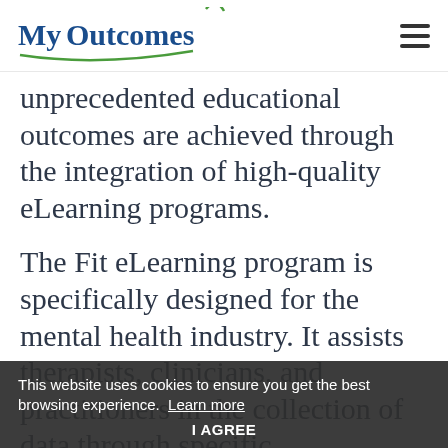[Figure (logo): MyOutcomes logo with green swoosh and figure]
unprecedented educational outcomes are achieved through the integration of high-quality eLearning programs.
The Fit eLearning program is specifically designed for the mental health industry. It assists therapists, clinicians, and practitioners in the collection of data through specific measurement tools and reporting systems. This enables greater accuracy of clinical tests.
This website uses cookies to ensure you get the best browsing experience. Learn more
I AGREE